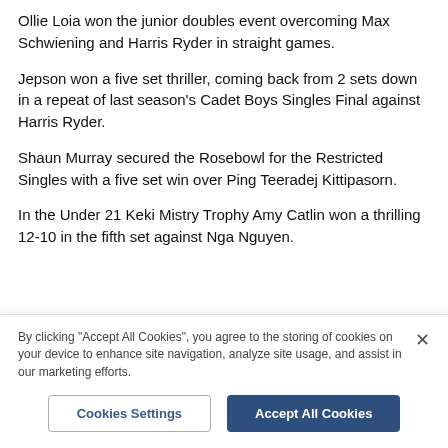Ollie Loia won the junior doubles event overcoming Max Schwiening and Harris Ryder in straight games.
Jepson won a five set thriller, coming back from 2 sets down in a repeat of last season’s Cadet Boys Singles Final against Harris Ryder.
Shaun Murray secured the Rosebowl for the Restricted Singles with a five set win over Ping Teeradej Kittipasorn.
In the Under 21 Keki Mistry Trophy Amy Catlin won a thrilling 12-10 in the fifth set against Nga Nguyen.
By clicking “Accept All Cookies”, you agree to the storing of cookies on your device to enhance site navigation, analyze site usage, and assist in our marketing efforts.